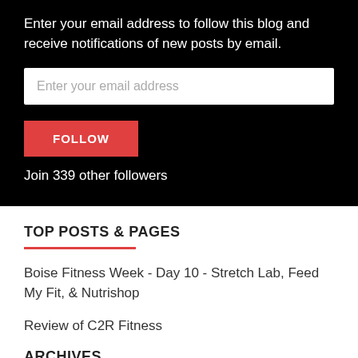Enter your email address to follow this blog and receive notifications of new posts by email.
Enter your email address
FOLLOW
Join 339 other followers
TOP POSTS & PAGES
Boise Fitness Week - Day 10 - Stretch Lab, Feed My Fit, & Nutrishop
Review of C2R Fitness
ARCHIVES